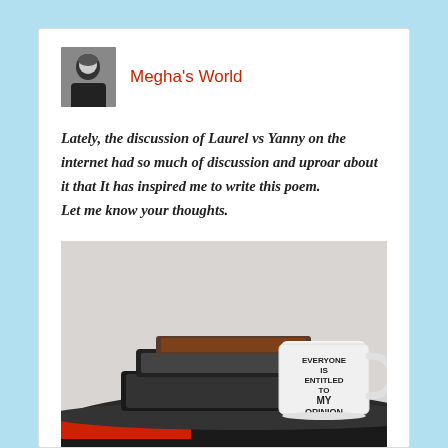Megha's World
Lately, the discussion of Laurel vs Yanny on the internet had so much of discussion and uproar about it that It has inspired me to write this poem. Let me know your thoughts.
[Figure (photo): Photo of a white mug with text 'EVERYONE IS ENTITLED TO MY OPINION' next to stacked tablets/devices on a round table]